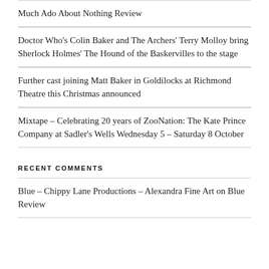Much Ado About Nothing Review
Doctor Who's Colin Baker and The Archers' Terry Molloy bring Sherlock Holmes' The Hound of the Baskervilles to the stage
Further cast joining Matt Baker in Goldilocks at Richmond Theatre this Christmas announced
Mixtape – Celebrating 20 years of ZooNation: The Kate Prince Company at Sadler's Wells Wednesday 5 – Saturday 8 October
RECENT COMMENTS
Blue – Chippy Lane Productions – Alexandra Fine Art on Blue Review